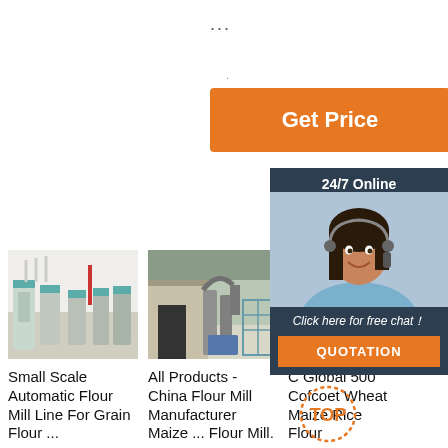...
.
[Figure (other): Orange 'Get Price' button]
[Figure (other): 24/7 Online chat panel with customer service representative photo, 'Click here for free chat!' text, and QUOTATION button]
[Figure (photo): Small scale automatic flour mill line interior with machinery]
[Figure (photo): All products China flour mill manufacturer maize machinery]
[Figure (photo): Global 500 Cofcoet wheat maize rice flour industrial equipment]
Small Scale Automatic Flour Mill Line For Grain Flour ...
All Products - China Flour Mill Manufacturer Maize ... Flour Mill.
C Global 500 Cofcoet Wheat Maize Rice Flour